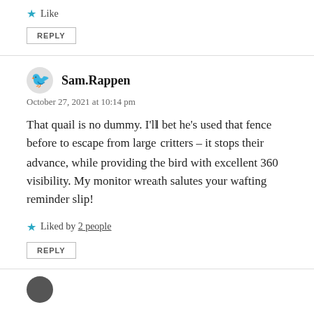Like
REPLY
Sam.Rappen
October 27, 2021 at 10:14 pm
That quail is no dummy. I'll bet he's used that fence before to escape from large critters – it stops their advance, while providing the bird with excellent 360 visibility. My monitor wreath salutes your wafting reminder slip!
Liked by 2 people
REPLY